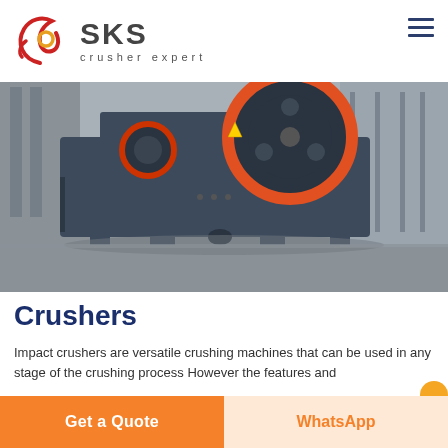[Figure (logo): SKS crusher expert logo with stylized red/orange swirl and grey SKS text]
[Figure (photo): Industrial jaw crusher machine in a factory setting, large flywheel visible, dark blue/grey machine body, orange/red rim on flywheel]
Crushers
Impact crushers are versatile crushing machines that can be used in any stage of the crushing process However the features and